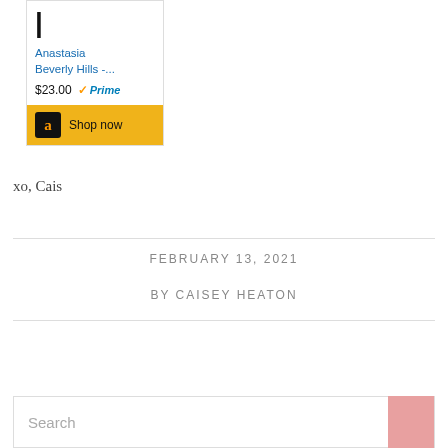[Figure (screenshot): Amazon product ad card showing Anastasia Beverly Hills product at $23.00 with Prime badge and Shop now button]
xo, Cais
FEBRUARY 13, 2021
BY CAISEY HEATON
Search